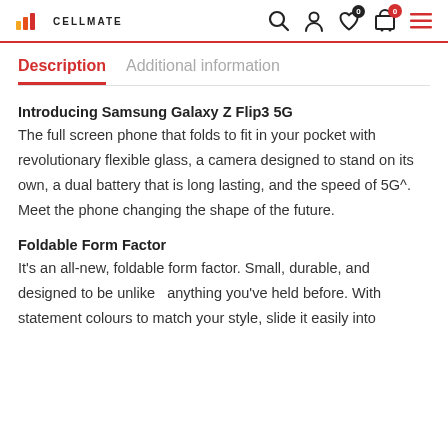CELLMATE
Description | Additional information
Introducing Samsung Galaxy Z Flip3 5G
The full screen phone that folds to fit in your pocket with revolutionary flexible glass, a camera designed to stand on its own, a dual battery that is long lasting, and the speed of 5G^. Meet the phone changing the shape of the future.
Foldable Form Factor
It's an all-new, foldable form factor. Small, durable, and designed to be unlike   anything you've held before. With statement colours to match your style, slide it easily into